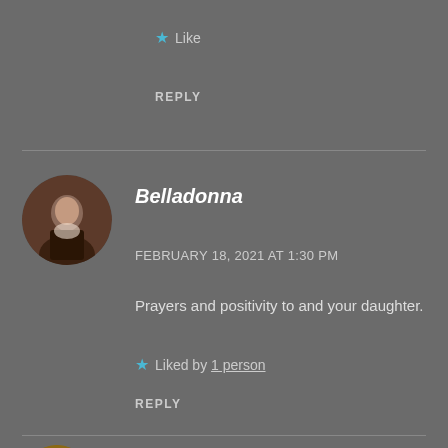★ Like
REPLY
Belladonna
FEBRUARY 18, 2021 AT 1:30 PM
Prayers and positivity to and your daughter.
★ Liked by 1 person
REPLY